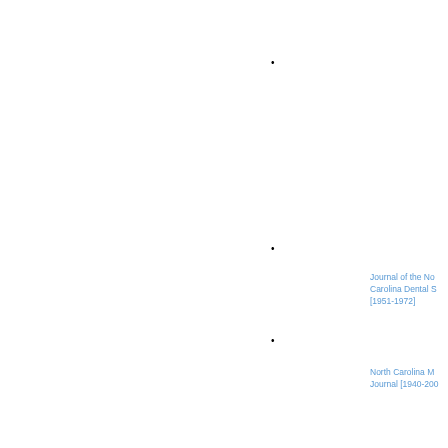•
•
Journal of the North Carolina Dental S [1951-1972]
•
North Carolina M Journal [1940-200